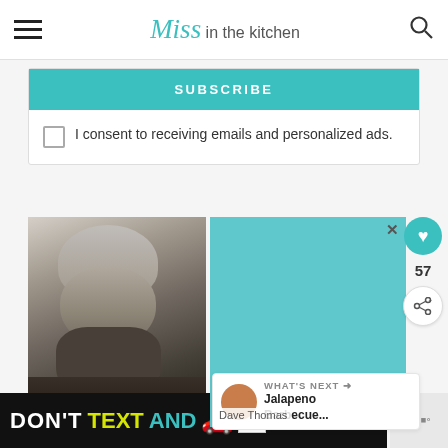Miss in the kitchen
SUBSCRIBE
I consent to receiving emails and personalized ads.
[Figure (photo): Black and white portrait photo of a man wearing a beanie hat with a beard]
[Figure (other): Teal/light blue advertisement block with close button]
57
WHAT'S NEXT → Jalapeno Barbecue...
Dave Thomas
[Figure (other): Bottom banner advertisement: DON'T TEXT AND [car emoji] with ad badge and NHTSA logo]